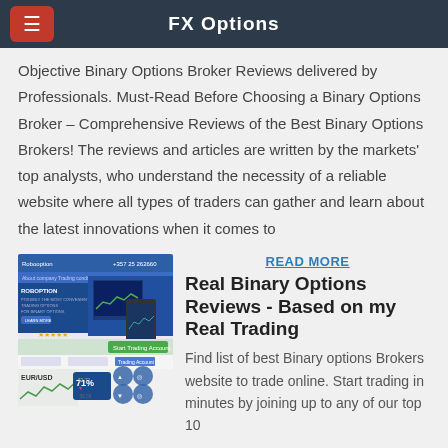FX Options
Objective Binary Options Broker Reviews delivered by Professionals. Must-Read Before Choosing a Binary Options Broker – Comprehensive Reviews of the Best Binary Options Brokers! The reviews and articles are written by the markets' top analysts, who understand the necessity of a reliable website where all types of traders can gather and learn about the latest innovations when it comes to
[Figure (screenshot): Screenshot of RoboOption trading platform showing trading charts, 71% indicator, and mobile/desktop interface]
READ MORE
Real Binary Options Reviews - Based on my Real Trading
Find list of best Binary options Brokers website to trade online. Start trading in minutes by joining up to any of our top 10 Binary Option Broking sites.